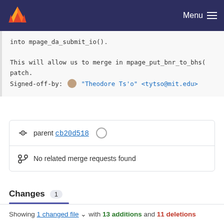GitLab — Menu
into mpage_da_submit_io().

This will allow us to merge in mpage_put_bnr_to_bhs(
patch.
Signed-off-by: "Theodore Ts'o" <tytso@mit.edu>
parent cb20d518
No related merge requests found
Changes 1
Showing 1 changed file with 13 additions and 11 deletions
fs/ext4/inode.c